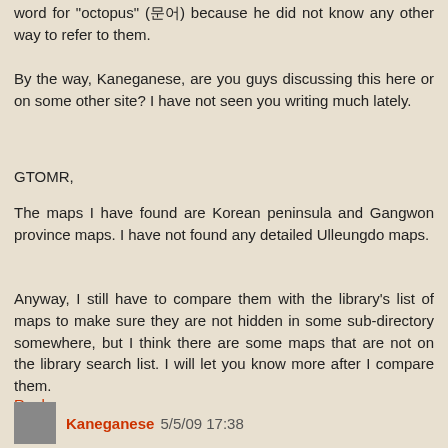word for "octopus" (문어) because he did not know any other way to refer to them.
By the way, Kaneganese, are you guys discussing this here or on some other site? I have not seen you writing much lately.
GTOMR,
The maps I have found are Korean peninsula and Gangwon province maps. I have not found any detailed Ulleungdo maps.
Anyway, I still have to compare them with the library's list of maps to make sure they are not hidden in some sub-directory somewhere, but I think there are some maps that are not on the library search list. I will let you know more after I compare them.
Reply
Kaneganese 5/5/09 17:38